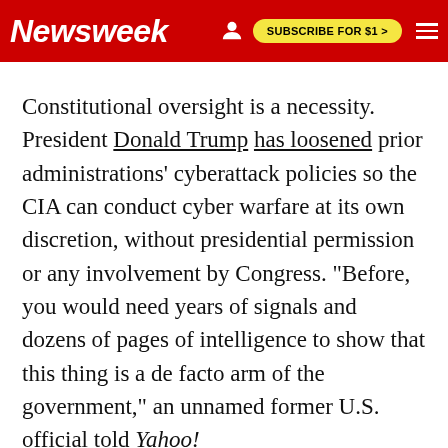Newsweek | SUBSCRIBE FOR $1 >
Constitutional oversight is a necessity. President Donald Trump has loosened prior administrations' cyberattack policies so the CIA can conduct cyber warfare at its own discretion, without presidential permission or any involvement by Congress. "Before, you would need years of signals and dozens of pages of intelligence to show that this thing is a de facto arm of the government," an unnamed former U.S. official told Yahoo!